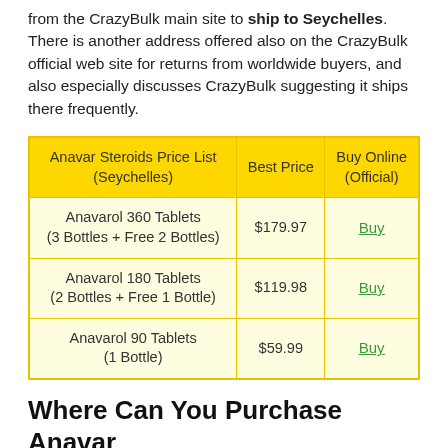from the CrazyBulk main site to ship to Seychelles. There is another address offered also on the CrazyBulk official web site for returns from worldwide buyers, and also especially discusses CrazyBulk suggesting it ships there frequently.
| Anavar Steroids Price List (Seychelles) | Best Price | Buy Online (Official) |
| --- | --- | --- |
| Anavarol 360 Tablets (3 Bottles + Free 2 Bottles) | $179.97 | Buy |
| Anavarol 180 Tablets (2 Bottles + Free 1 Bottle) | $119.98 | Buy |
| Anavarol 90 Tablets (1 Bottle) | $59.99 | Buy |
Where Can You Purchase Anavar Alternatives in Seychelles?